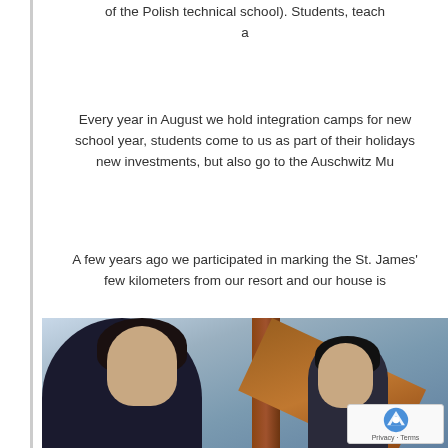of the Polish technical school). Students, teachers and a
Every year in August we hold integration camps for new school year, students come to us as part of their holidays new investments, but also go to the Auschwitz Mu
A few years ago we participated in marking the St. James few kilometers from our resort and our house is
[Figure (photo): A photograph showing people in an indoor setting. A woman with dark hair and a dark jacket is prominently visible in the foreground on the left, looking to the side. Behind her are what appear to be wooden beams or a cross structure. To the right are other people, including a young girl. There is a reCAPTCHA privacy widget overlay in the bottom right corner.]